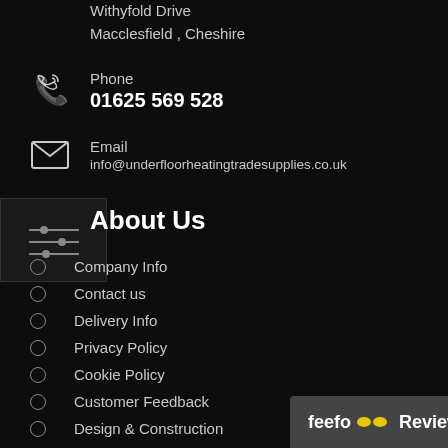Withyfold Drive
Macclesfield , Cheshire
Phone
01625 569 528
Email
info@underfloorheatingtradesupplies.co.uk
About Us
Company Info
Contact us
Delivery Info
Privacy Policy
Cookie Policy
Customer Feedback
Design & Construction
Terms & C…
Shipping …
feefo Reviews